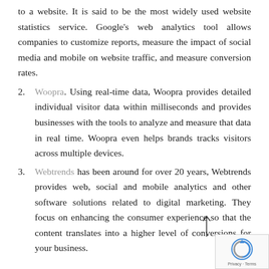to a website. It is said to be the most widely used website statistics service. Google's web analytics tool allows companies to customize reports, measure the impact of social media and mobile on website traffic, and measure conversion rates.
2. Woopra. Using real-time data, Woopra provides detailed individual visitor data within milliseconds and provides businesses with the tools to analyze and measure that data in real time. Woopra even helps brands tracks visitors across multiple devices.
3. Webtrends has been around for over 20 years, Webtrends provides web, social and mobile analytics and other software solutions related to digital marketing. They focus on enhancing the consumer experience so that the content translates into a higher level of conversions for your business.